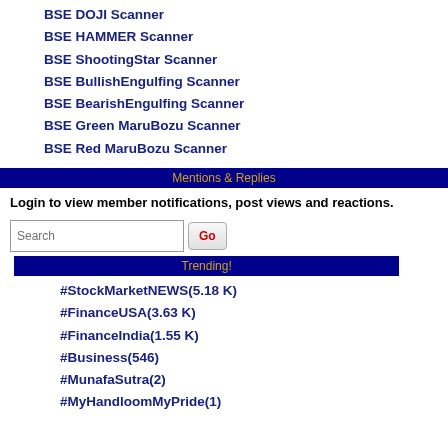BSE DOJI Scanner
BSE HAMMER Scanner
BSE ShootingStar Scanner
BSE BullishEngulfing Scanner
BSE BearishEngulfing Scanner
BSE Green MaruBozu Scanner
BSE Red MaruBozu Scanner
Mentions & Replies
Login to view member notifications, post views and reactions.
Trending!
#StockMarketNEWS(5.18 K)
#FinanceUSA(3.63 K)
#FinanceIndia(1.55 K)
#Business(546)
#MunafaSutra(2)
#MyHandloomMyPride(1)